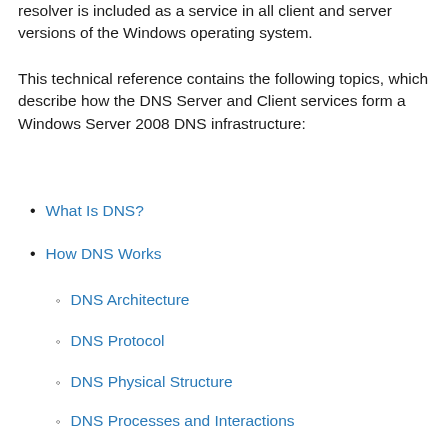resolver is included as a service in all client and server versions of the Windows operating system.
This technical reference contains the following topics, which describe how the DNS Server and Client services form a Windows Server 2008 DNS infrastructure:
What Is DNS?
How DNS Works
DNS Architecture
DNS Protocol
DNS Physical Structure
DNS Processes and Interactions
DNS Reference Information